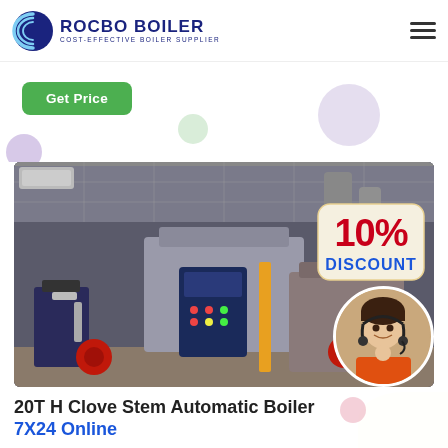ROCBO BOILER | COST-EFFECTIVE BOILER SUPPLIER
[Figure (logo): Rocbo Boiler logo with circular blue swirl icon and company name]
Get Price
[Figure (photo): Industrial boiler room with multiple gas boilers, control panels, pipes, and a 10% DISCOUNT badge overlay with a customer service agent]
20T H Clove Stem Automatic Boiler
7X24 Online